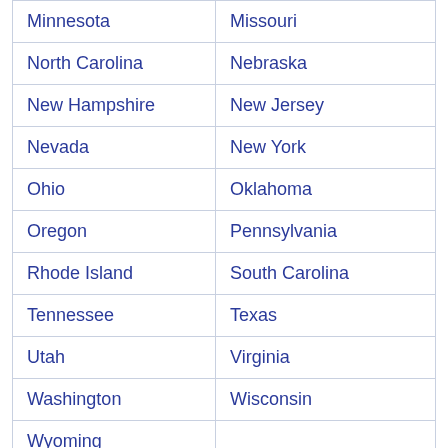| Minnesota | Missouri |
| North Carolina | Nebraska |
| New Hampshire | New Jersey |
| Nevada | New York |
| Ohio | Oklahoma |
| Oregon | Pennsylvania |
| Rhode Island | South Carolina |
| Tennessee | Texas |
| Utah | Virginia |
| Washington | Wisconsin |
| Wyoming |  |